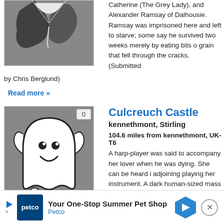[Figure (illustration): Ghost illustration on grey background - dark dripping shape]
Catherine (The Grey Lady), and Alexander Ramsay of Dalhousie. Ramsay was imprisoned here and left to starve; some say he survived two weeks merely by eating bits of grain that fell through the cracks. (Submitted by Chris Berglund)
Read more »
[Figure (illustration): Friendly ghost cartoon illustration on grey background]
Culcreuch Castle
kennethmont, Stirling
104.6 miles from kennethmont, UK-T6
A harp-player was said to accompany her lover when he was dying. She can be heard in adjoining playing her instrument. A dark human-sized mass has also been seen in the halls. The Chinese Bird Room is said to have the most activity. (Submitted by Chris Berglund)
Read more »
[Figure (other): Petco advertisement banner - Your One-Stop Summer Pet Shop]